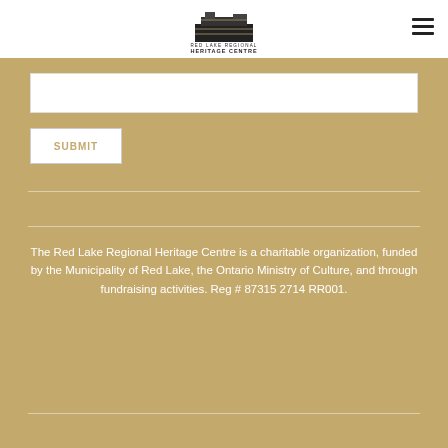[Figure (logo): Red Lake Regional Heritage Centre logo - building illustration above text]
SUBMIT
The Red Lake Regional Heritage Centre is a charitable organization, funded by the Municipality of Red Lake, the Ontario Ministry of Culture, and through fundraising activities. Reg # 87315 2714 RR001.